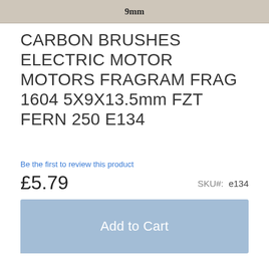[Figure (photo): Product photo cropped, showing '9mm' text on a beige/wood surface background]
CARBON BRUSHES ELECTRIC MOTOR MOTORS FRAGRAM FRAG 1604 5X9X13.5mm FZT FERN 250 E134
Be the first to review this product
£5.79
SKU#:  e134
Qty
0
Add to Cart